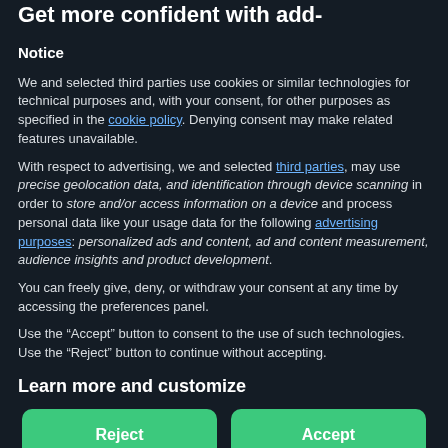Get more confident with add-
Notice
We and selected third parties use cookies or similar technologies for technical purposes and, with your consent, for other purposes as specified in the cookie policy. Denying consent may make related features unavailable.
With respect to advertising, we and selected third parties, may use precise geolocation data, and identification through device scanning in order to store and/or access information on a device and process personal data like your usage data for the following advertising purposes: personalized ads and content, ad and content measurement, audience insights and product development.
You can freely give, deny, or withdraw your consent at any time by accessing the preferences panel.
Use the “Accept” button to consent to the use of such technologies. Use the “Reject” button to continue without accepting.
Learn more and customize
Reject
Accept